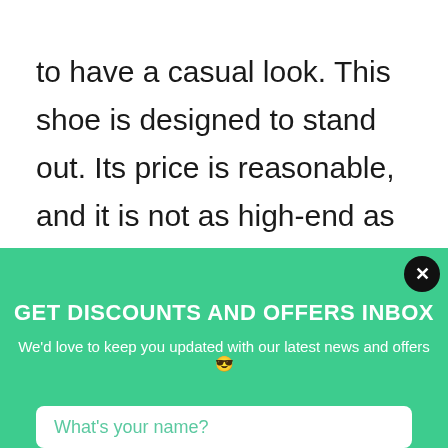to have a casual look. This shoe is designed to stand out. Its price is reasonable, and it is not as high-end as Minnetonkas or UGGs. They are made from cow leather, which is incredibly durable and dirt resistant. The shoe has convenient sizing that
[Figure (screenshot): Green popup overlay with title 'GET DISCOUNTS AND OFFERS INBOX', subtitle 'We'd love to keep you updated with our latest news and offers 😎', a close button (X) in the top right, and a white input field with placeholder 'What's your name?']